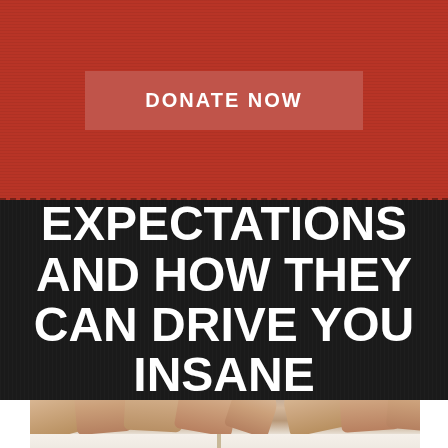DONATE NOW
EXPECTATIONS AND HOW THEY CAN DRIVE YOU INSANE
[Figure (photo): Close-up photograph of multiple hands resting on an open book, viewed from above]